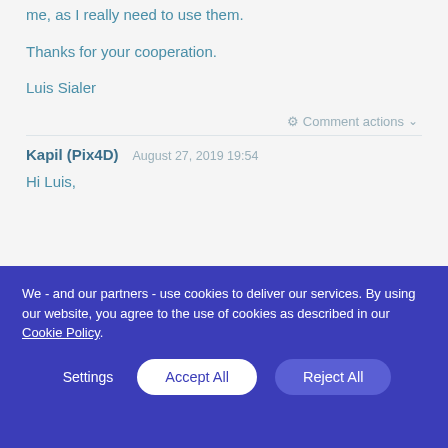me, as I really need to use them.

Thanks for your cooperation.

Luis Sialer
Comment actions
Kapil (Pix4D)   August 27, 2019 19:54
Hi Luis,
We - and our partners - use cookies to deliver our services. By using our website, you agree to the use of cookies as described in our Cookie Policy
Settings   Accept All   Reject All